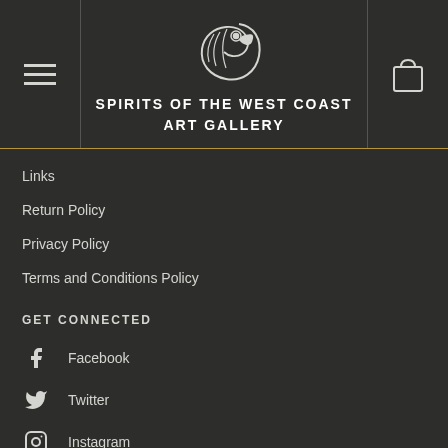[Figure (logo): Spirits of the West Coast Art Gallery logo — stylized eagle/bird head in white line art on dark background]
SPIRITS OF THE WEST COAST ART GALLERY
Links
Return Policy
Privacy Policy
Terms and Conditions Policy
GET CONNECTED
Facebook
Twitter
Instagram
Pinterest
YouTube